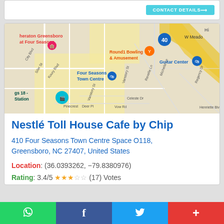[Figure (map): Google Maps view showing area around Four Seasons Town Centre in Greensboro, NC. Labels include: Sheraton Greensboro at Four Seasons, Round1 Bowling & Amusement, Guitar Center, Four Seasons Town Centre, W Meado, City Blvd, Siler St, Koury Blvd, Vanstory St, Michelle Ln, Revelle Ln, Regency Dr, Celeste Dr, Pinecrest, Deer Pl, Vow Rd, I-40 highway. Map pin markers visible.]
Nestlé Toll House Cafe by Chip
410 Four Seasons Town Centre Space O118, Greensboro, NC 27407, United States
Location: (36.0393262, -79.8380976)
Rating: 3.4/5 ★★★☆☆ (17) Votes